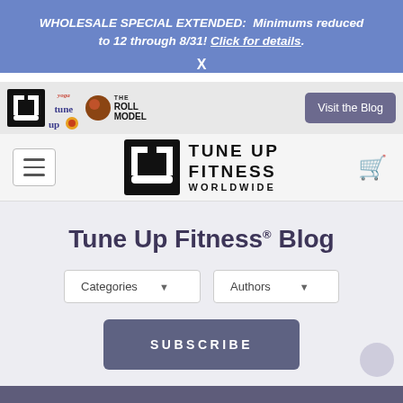WHOLESALE SPECIAL EXTENDED: Minimums reduced to 12 through 8/31! Click for details.
[Figure (screenshot): Navigation bar with Tune Up Fitness, Yoga Tune Up, and The Roll Model logos, and a 'Visit the Blog' button]
[Figure (logo): Tune Up Fitness Worldwide logo with large TUF symbol and hamburger menu, cart icon]
Tune Up Fitness® Blog
Categories dropdown and Authors dropdown filter buttons
SUBSCRIBE